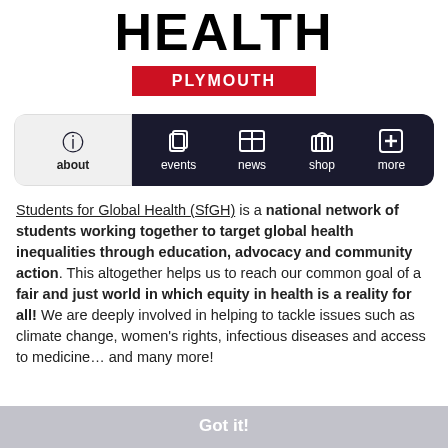HEALTH
PLYMOUTH
[Figure (screenshot): Website navigation bar with icons for about, events, news, shop, more. The 'about' tab is selected on a light background; other tabs on dark navy background.]
Students for Global Health (SfGH) is a national network of students working together to target global health inequalities through education, advocacy and community action. This altogether helps us to reach our common goal of a fair and just world in which equity in health is a reality for all! We are deeply involved in helping to tackle issues such as climate change, women's rights, infectious diseases and access to medicine… and many more!
Got it!